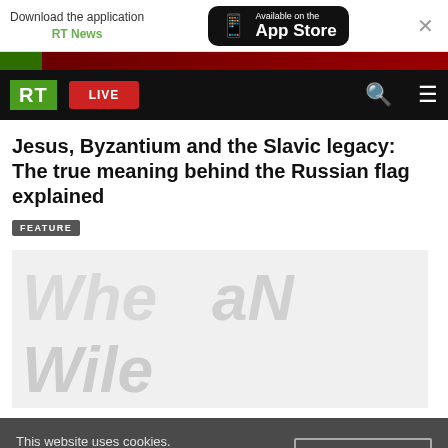Download the application RT News — Available on the App Store
[Figure (screenshot): RT news website navigation bar with RT logo, LIVE button, search and menu icons]
Jesus, Byzantium and the Slavic legacy: The true meaning behind the Russian flag explained
FEATURE
[Figure (photo): Article image placeholder with faint watermark text]
This website uses cookies. Read RT Privacy policy to find out more.